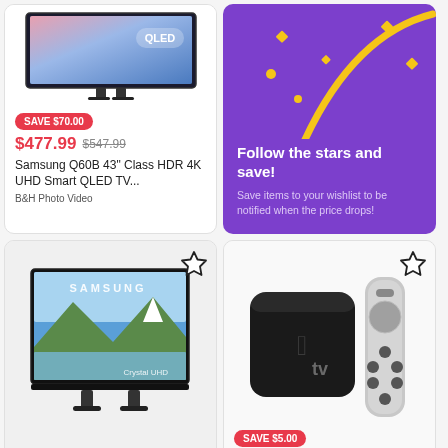[Figure (photo): Samsung QLED TV product image with QLED label overlay]
SAVE $70.00
$477.99  $547.99
Samsung Q60B 43" Class HDR 4K UHD Smart QLED TV...
B&H Photo Video
[Figure (illustration): Purple promotional banner with golden arc and confetti decoration, text: Follow the stars and save! Save items to your wishlist to be notified when the price drops!]
[Figure (photo): Samsung Crystal UHD TV product image with mountain landscape on screen]
[Figure (photo): Apple TV black box and Siri remote product image with SAVE $5.00 badge]